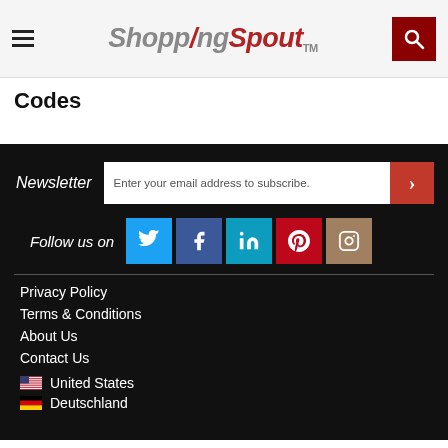[Figure (logo): ShoppingSpout TM logo with hamburger menu on left and search button on right]
Codes
Newsletter - Enter your email address to subscribe.
Follow us on (Twitter, Facebook, LinkedIn, Pinterest, Instagram)
Privacy Policy
Terms & Conditions
About Us
Contact Us
United States
Deutschland